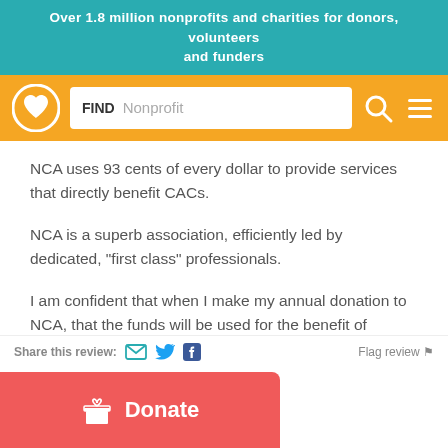Over 1.8 million nonprofits and charities for donors, volunteers and funders
[Figure (screenshot): Navigation bar with logo, search field showing 'FIND Nonprofit', search icon, and hamburger menu icon on orange background]
NCA uses 93 cents of every dollar to provide services that directly benefit CACs.
NCA is a superb association, efficiently led by dedicated, "first class" professionals.
I am confident that when I make my annual donation to NCA, that the funds will be used for the benefit of abused children.
Share this review:   Flag review
[Figure (other): Red Donate button with gift icon]